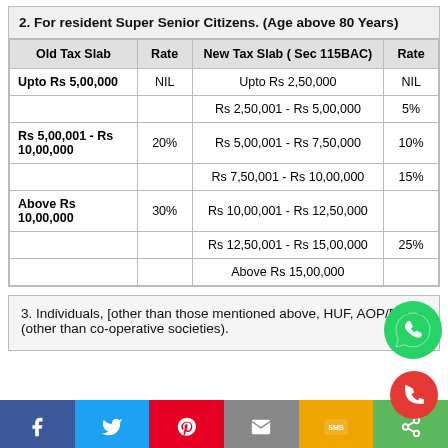2. For resident Super Senior Citizens. (Age above 80 Years)
| Old Tax Slab | Rate | New Tax Slab ( Sec 115BAC) | Rate |
| --- | --- | --- | --- |
| Upto Rs 5,00,000 | NIL | Upto Rs 2,50,000 | NIL |
|  |  | Rs 2,50,001 - Rs 5,00,000 | 5% |
| Rs 5,00,001 - Rs 10,00,000 | 20% | Rs 5,00,001 - Rs 7,50,000 | 10% |
|  |  | Rs 7,50,001 - Rs 10,00,000 | 15% |
| Above Rs 10,00,000 | 30% | Rs 10,00,001 - Rs 12,50,000 |  |
|  |  | Rs 12,50,001 - Rs 15,00,000 | 25% |
|  |  | Above Rs 15,00,000 |  |
3. Individuals, [other than those mentioned above, HUF, AOP/BOI (other than co-operative societies).